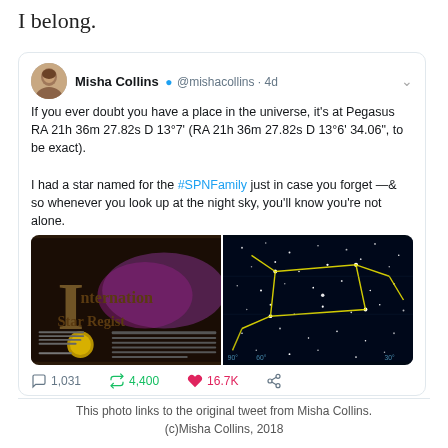I belong.
[Figure (screenshot): Tweet from Misha Collins (@mishacollins) 4d ago. Text: 'If you ever doubt you have a place in the universe, it's at Pegasus RA 21h 36m 27.82s D 13°7' (RA 21h 36m 27.82s D 13°6' 34.06", to be exact). I had a star named for the #SPNFamily just in case you forget —& so whenever you look up at the night sky, you'll know you're not alone.' Includes two images: left shows a galaxy/star registry certificate, right shows a star map with Pegasus constellation outlined in yellow. Actions: 1,031 replies, 4,400 retweets, 16.7K likes.]
This photo links to the original tweet from Misha Collins.
(c)Misha Collins, 2018